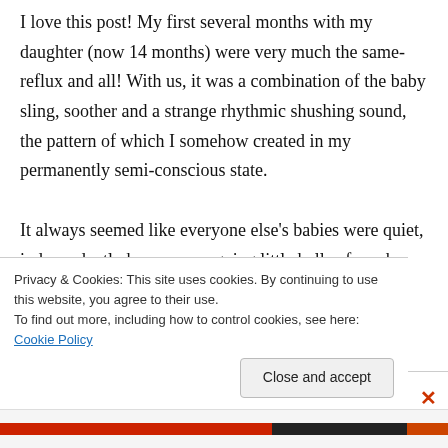I love this post! My first several months with my daughter (now 14 months) were very much the same- reflux and all! With us, it was a combination of the baby sling, soother and a strange rhythmic shushing sound, the pattern of which I somehow created in my permanently semi-conscious state.

It always seemed like everyone else's babies were quiet, independently happy, easy going little balls of mush, always up for adventure. Our
Privacy & Cookies: This site uses cookies. By continuing to use this website, you agree to their use.
To find out more, including how to control cookies, see here: Cookie Policy
Close and accept